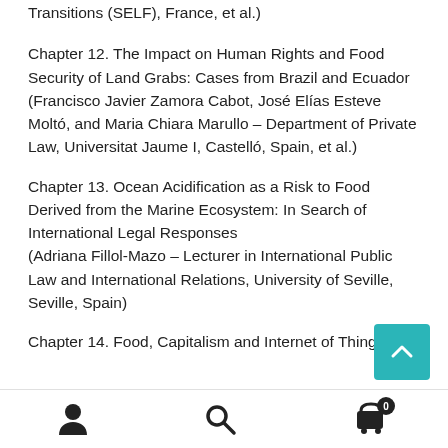Transitions (SELF), France, et al.)
Chapter 12. The Impact on Human Rights and Food Security of Land Grabs: Cases from Brazil and Ecuador (Francisco Javier Zamora Cabot, José Elías Esteve Moltó, and Maria Chiara Marullo – Department of Private Law, Universitat Jaume I, Castelló, Spain, et al.)
Chapter 13. Ocean Acidification as a Risk to Food Derived from the Marine Environment: In Search of International Legal Responses (Adriana Fillol-Mazo – Lecturer in International Public Law and International Relations, University of Seville, Seville, Spain)
Chapter 14. Food, Capitalism and Internet of Things